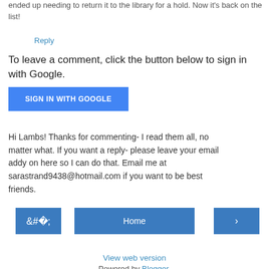ended up needing to return it to the library for a hold. Now it's back on the list!
Reply
To leave a comment, click the button below to sign in with Google.
[Figure (other): Blue 'SIGN IN WITH GOOGLE' button]
Hi Lambs! Thanks for commenting- I read them all, no matter what. If you want a reply- please leave your email addy on here so I can do that. Email me at sarastrand9438@hotmail.com if you want to be best friends.
[Figure (other): Navigation bar with left arrow, Home button, and right arrow]
View web version
Powered by Blogger.